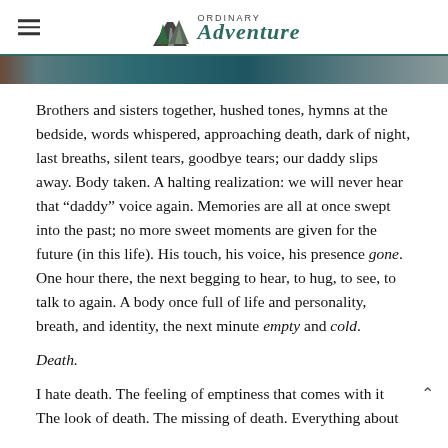Ordinary Adventure
[Figure (photo): Partial view of a photograph — dark teal/blue tones, appears to be a landscape or scene banner image strip.]
Brothers and sisters together, hushed tones, hymns at the bedside, words whispered, approaching death, dark of night, last breaths, silent tears, goodbye tears; our daddy slips away. Body taken. A halting realization: we will never hear that “daddy” voice again. Memories are all at once swept into the past; no more sweet moments are given for the future (in this life). His touch, his voice, his presence gone. One hour there, the next begging to hear, to hug, to see, to talk to again. A body once full of life and personality, breath, and identity, the next minute empty and cold.
Death.
I hate death. The feeling of emptiness that comes with it The look of death. The missing of death. Everything about